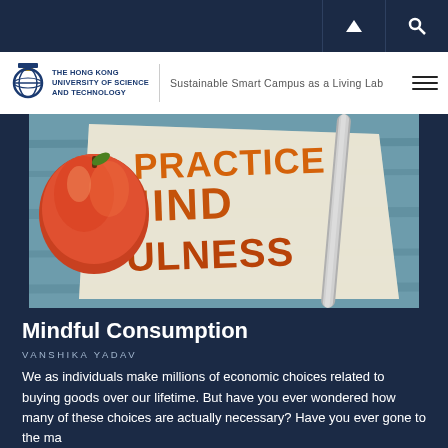THE HONG KONG UNIVERSITY OF SCIENCE AND TECHNOLOGY | Sustainable Smart Campus as a Living Lab
[Figure (photo): Photo showing an apple and a napkin with 'PRACTICE MINDFULNESS' written in bold orange letters on a wooden blue table with a metal straw]
Mindful Consumption
VANSHIKA YADAV
We as individuals make millions of economic choices related to buying goods over our lifetime. But have you ever wondered how many of these choices are actually necessary? Have you ever gone to the ma